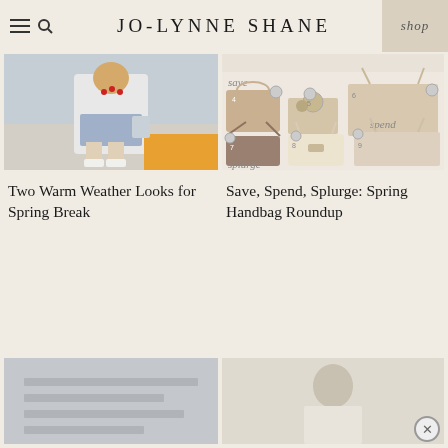JO-LYNNE SHANE
[Figure (photo): Woman in white graphic tee and blue shorts walking outdoors, spring fashion look]
[Figure (photo): Save Spend Splurge Spring Handbag Roundup collage with numbered handbags (items 4-9), showing save and spend labels, various neutral-toned bags]
Two Warm Weather Looks for Spring Break
Save, Spend, Splurge: Spring Handbag Roundup
[Figure (photo): Bottom left partial image - appears to be a flat lay or desk scene in grey tones]
[Figure (photo): Bottom right partial image - appears to be a person in white top in a light room]